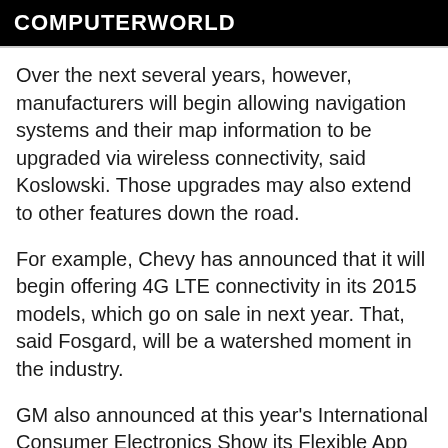COMPUTERWORLD
Over the next several years, however, manufacturers will begin allowing navigation systems and their map information to be upgraded via wireless connectivity, said Koslowski. Those upgrades may also extend to other features down the road.
For example, Chevy has announced that it will begin offering 4G LTE connectivity in its 2015 models, which go on sale in next year. That, said Fosgard, will be a watershed moment in the industry.
GM also announced at this year’s International Consumer Electronics Show its Flexible App Framework. When rolled out later this year, it will